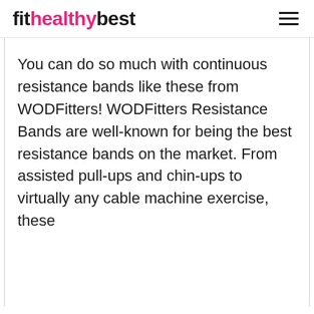fithealthybest
You can do so much with continuous resistance bands like these from WODFitters! WODFitters Resistance Bands are well-known for being the best resistance bands on the market. From assisted pull-ups and chin-ups to virtually any cable machine exercise, these